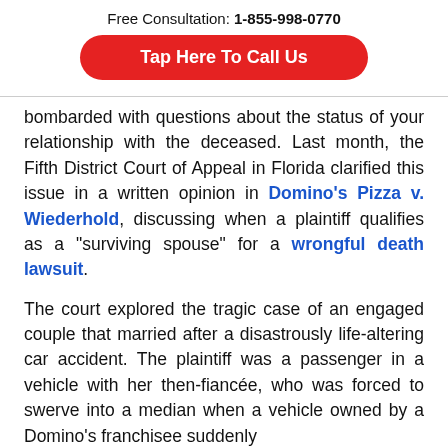Free Consultation: 1-855-998-0770
Tap Here To Call Us
bombarded with questions about the status of your relationship with the deceased. Last month, the Fifth District Court of Appeal in Florida clarified this issue in a written opinion in Domino's Pizza v. Wiederhold, discussing when a plaintiff qualifies as a “surviving spouse” for a wrongful death lawsuit.
The court explored the tragic case of an engaged couple that married after a disastrously life-altering car accident. The plaintiff was a passenger in a vehicle with her then-fiancée, who was forced to swerve into a median when a vehicle owned by a Domino’s franchisee suddenly